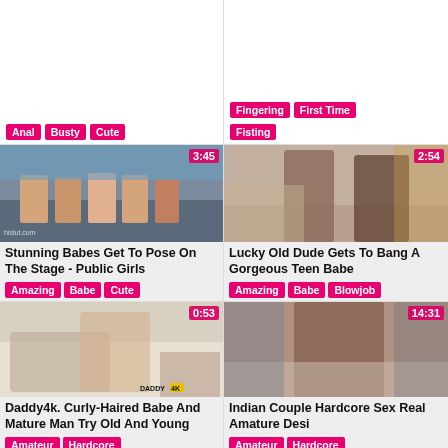Anal  Busty  Cute
Fingering  First Time  Fisting
[Figure (photo): Outdoor crowd scene with women sitting in bikinis by a pool stage, video thumbnail with timer 3:45]
Stunning Babes Get To Pose On The Stage - Public Girls
Amazing  Babe  Cute
[Figure (photo): Two women in lingerie photographed from below, video thumbnail with timer 2:54]
Lucky Old Dude Gets To Bang A Gorgeous Teen Babe
Amazing  Babe  Blowjob
[Figure (photo): Man and woman on white couch, video thumbnail with timer 0:53 and DADDY4K watermark]
Daddy4k. Curly-Haired Babe And Mature Man Try Old And Young
Amateur  Hardcore
[Figure (photo): Indian woman in bedroom, video thumbnail with timer 14:31]
Indian Couple Hardcore Sex Real Amature Desi
Amateur  Hardcore